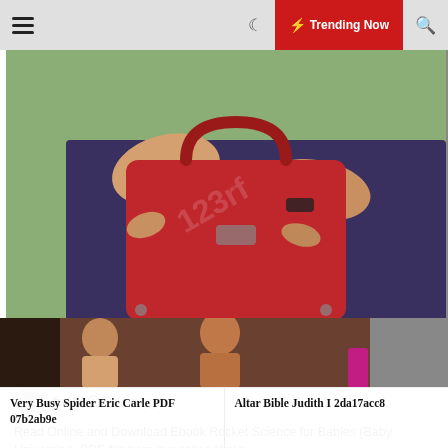≡  ☾  ⚡ Trending Now  🔍
[Figure (photo): Fashion photo showing hands holding a red handbag against a green background]
Fashion And Gift
Rocket Science Babies Baby University PDF 2798f5ddd
fuah  🕐 5 days ago
Read Online and Download Ebook Rocket Science for Babies (Baby University). PDF file from our online library
[Figure (photo): Partial bottom photo strip showing a fashion-related image]
Very Busy Spider Eric Carle PDF 07b2ab9e
Altar Bible Judith I 2da17acc8